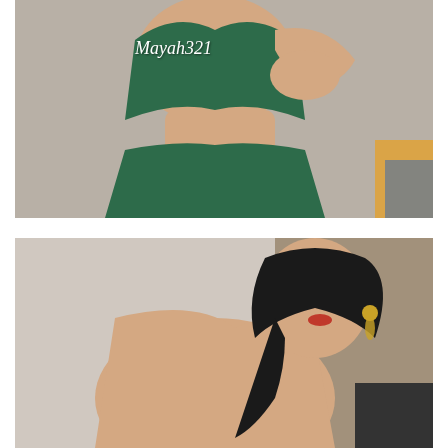[Figure (photo): Person wearing a green draped garment/saree, showing midriff, with watermark text 'Mayah321' in white cursive font on the image]
[Figure (photo): Person with dark hair, red lipstick, wearing earrings, looking over shoulder, with an ad overlay popup in the lower portion]
Ads By ClickAdilla
You Have (1) Security Warning
Click Here To Ensure Your Online Protection